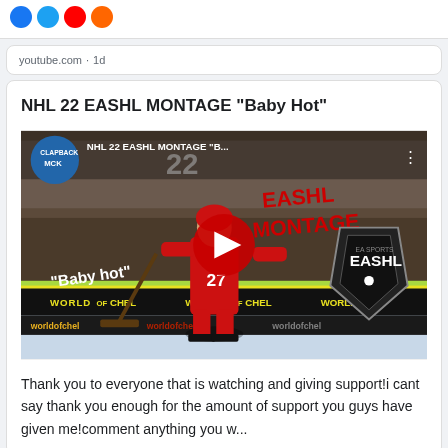social icons row
youtube.com · 1d
NHL 22 EASHL MONTAGE "Baby Hot"
[Figure (screenshot): YouTube video thumbnail for NHL 22 EASHL MONTAGE 'Baby Hot' showing a hockey player in red jersey number 27, with red play button overlay, EASHL EA Sports logo, text 'Baby hot' and 'WORLD OF CHEL' branding]
Thank you to everyone that is watching and giving support!i cant say thank you enough for the amount of support you guys have given me!comment anything you w...